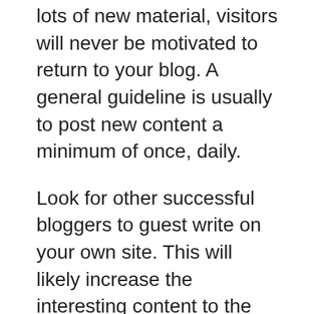lots of new material, visitors will never be motivated to return to your blog. A general guideline is usually to post new content a minimum of once, daily.
Look for other successful bloggers to guest write on your own site. This will likely increase the interesting content to the blog. Additionally, you need to experience greater traffic if these bloggers inform their readers that they're posting on your site. Extend invitations to many bloggers that will help you enhance your readership as well as the richness of your blog's content.
Maintain the fitness of your site. Make certain you keep your site working and then in good working condition. Perform regular maintenance and try to search for approaches to give the reader the best experience. This helps readers from getting bored, and also will make certain that nobody has a problem visiting your blog site.